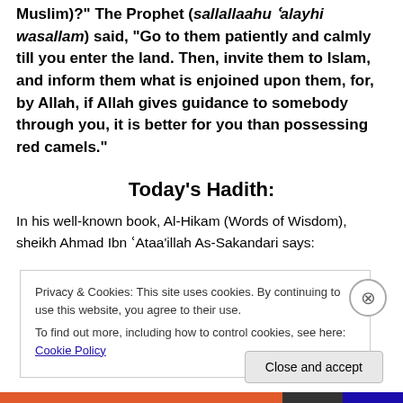Muslim)?" The Prophet (sallallaahu `alayhi wasallam) said, "Go to them patiently and calmly till you enter the land. Then, invite them to Islam, and inform them what is enjoined upon them, for, by Allah, if Allah gives guidance to somebody through you, it is better for you than possessing red camels."
Today's Hadith:
In his well-known book, Al-Hikam (Words of Wisdom), sheikh Ahmad Ibn `Ataa'illah As-Sakandari says:
Privacy & Cookies: This site uses cookies. By continuing to use this website, you agree to their use.
To find out more, including how to control cookies, see here: Cookie Policy